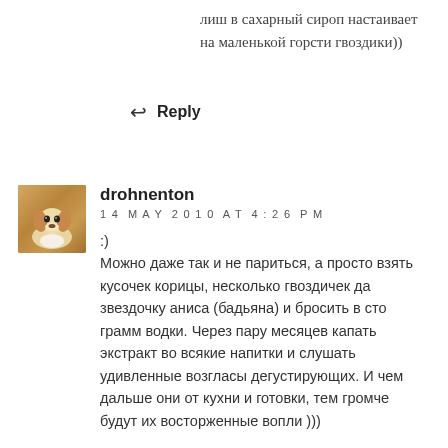лиш в сахарный сироп настаивает на маленькой горсти гвоздики))
↩ Reply
[Figure (photo): Avatar photo of a small dog (beagle-like) lying down, brown and white coloring]
drohnenton
14 MAY 2010 AT 4:26 PM
:)
Можно даже так и не париться, а просто взять кусочек корицы, несколько гвоздичек да звездочку аниса (бадьяна) и бросить в сто грамм водки. Через пару месяцев капать экстракт во всякие напитки и слушать удивленные возгласы дегустирующих. И чем дальше они от кухни и готовки, тем громче будут их восторженные вопли )))